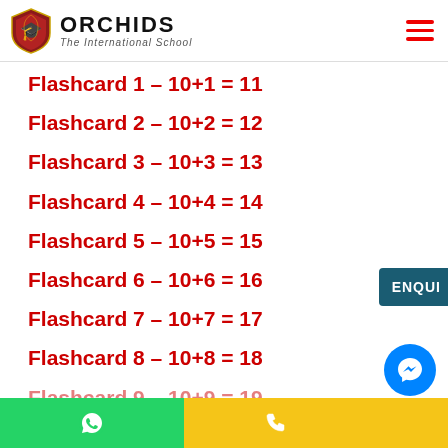ORCHIDS The International School
Flashcard 1 – 10+1 = 11
Flashcard 2 – 10+2 = 12
Flashcard 3 – 10+3 = 13
Flashcard 4 – 10+4 = 14
Flashcard 5 – 10+5 = 15
Flashcard 6 – 10+6 = 16
Flashcard 7 – 10+7 = 17
Flashcard 8 – 10+8 = 18
Flashcard 9 – 10+9 = 19